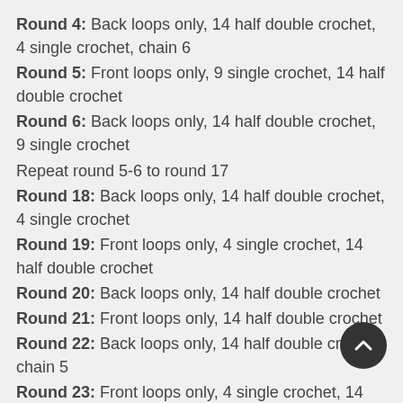Round 4: Back loops only, 14 half double crochet, 4 single crochet, chain 6
Round 5: Front loops only, 9 single crochet, 14 half double crochet
Round 6: Back loops only, 14 half double crochet, 9 single crochet
Repeat round 5-6 to round 17
Round 18: Back loops only, 14 half double crochet, 4 single crochet
Round 19: Front loops only, 4 single crochet, 14 half double crochet
Round 20: Back loops only, 14 half double crochet
Round 21: Front loops only, 14 half double crochet
Round 22: Back loops only, 14 half double crochet, chain 5
Round 23: Front loops only, 4 single crochet, 14 half double crochet
double crochet